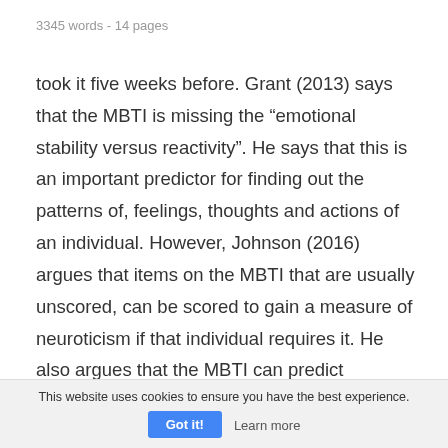3345 words - 14 pages
took it five weeks before. Grant (2013) says that the MBTI is missing the “emotional stability versus reactivity”. He says that this is an important predictor for finding out the patterns of, feelings, thoughts and actions of an individual. However, Johnson (2016) argues that items on the MBTI that are usually unscored, can be scored to gain a measure of neuroticism if that individual requires it. He also argues that the MBTI can predict
This website uses cookies to ensure you have the best experience.
Got it!
Learn more